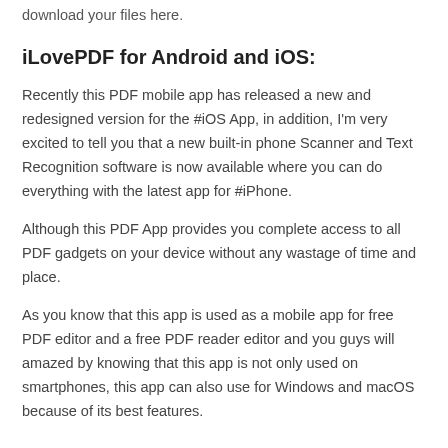download your files here.
iLovePDF for Android and iOS:
Recently this PDF mobile app has released a new and redesigned version for the #iOS App, in addition, I'm very excited to tell you that a new built-in phone Scanner and Text Recognition software is now available where you can do everything with the latest app for #iPhone.
Although this PDF App provides you complete access to all PDF gadgets on your device without any wastage of time and place.
As you know that this app is used as a mobile app for free PDF editor and a free PDF reader editor and you guys will amazed by knowing that this app is not only used on smartphones, this app can also use for Windows and macOS because of its best features.